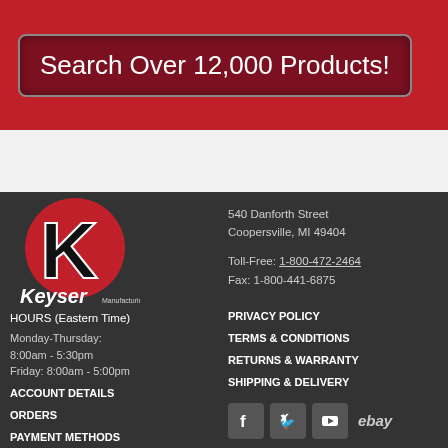Search Over 12,000 Products!
[Figure (logo): Keyser Manufacturing Co. logo with red circle and black K]
HOURS (Eastern Time)
Monday-Thursday:
8:00am - 5:30pm
Friday: 8:00am - 5:00pm
ACCOUNT DETAILS
ORDERS
PAYMENT METHODS
540 Danforth Street
Coopersville, MI 49404
Toll-Free: 1-800-472-2464
Fax: 1-800-441-6875
PRIVACY POLICY
TERMS & CONDITIONS
RETURNS & WARRANTY
SHIPPING & DELIVERY
[Figure (illustration): Social media icons: Facebook, Twitter, YouTube, eBay]